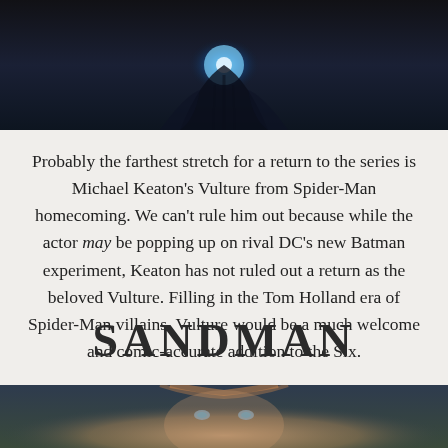[Figure (photo): Dark cinematic image with glowing blue light effect, appears to be a character in dark armor or costume with blue energy emanating from the center, dark background]
Probably the farthest stretch for a return to the series is Michael Keaton's Vulture from Spider-Man homecoming. We can't rule him out because while the actor may be popping up on rival DC's new Batman experiment, Keaton has not ruled out a return as the beloved Vulture. Filling in the Tom Holland era of Spider-Man villains, Vulture would be a much welcome and comic-accurate addition to the Six.
SANDMAN
[Figure (photo): Close-up photo of a man with blue eyes and reddish-brown hair looking upward, against a dark blurred background]